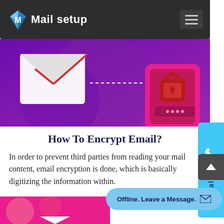Mail setup
[Figure (illustration): Purple/violet banner image showing an envelope with a security padlock on a smartphone, representing email encryption concept]
How To Encrypt Email?
In order to prevent third parties from reading your mail content, email encryption is done, which is basically digitizing the information within.
[Figure (photo): Bottom strip image with pink/magenta background with envelope illustration]
[Figure (infographic): Call Us sidebar button in cyan/light blue]
[Figure (infographic): Scroll to top arrow button in dark gray]
Offline. Leave a Message.